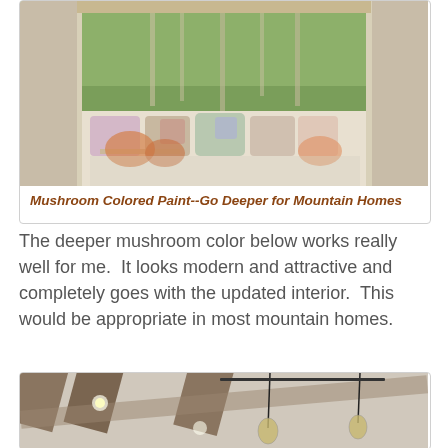[Figure (photo): Interior room with large bay window overlooking green trees, window seat with colorful cushions and pillows, flowers on a glass coffee table, cozy living space with natural light]
Mushroom Colored Paint--Go Deeper for Mountain Homes
The deeper mushroom color below works really well for me.  It looks modern and attractive and completely goes with the updated interior.  This would be appropriate in most mountain homes.
[Figure (photo): Interior ceiling with exposed wooden beams and pendant glass globe lights hanging from dark metal rods, recessed lighting, light gray/mushroom colored walls and ceiling panels between beams]